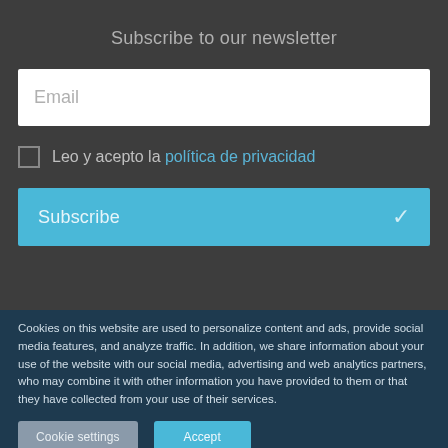Subscribe to our newsletter
Email
Leo y acepto la política de privacidad
Subscribe ✓
Cookies on this website are used to personalize content and ads, provide social media features, and analyze traffic. In addition, we share information about your use of the website with our social media, advertising and web analytics partners, who may combine it with other information you have provided to them or that they have collected from your use of their services.
Cookie settings
Accept